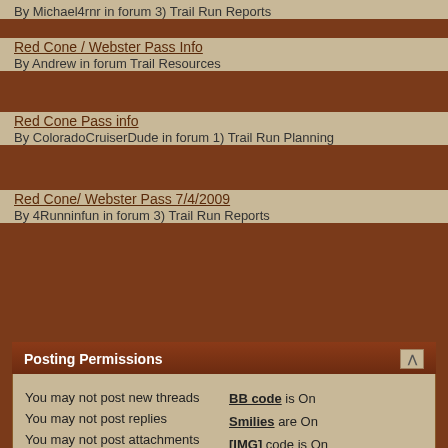By Michael4rnr in forum 3) Trail Run Reports
Red Cone / Webster Pass Info
By Andrew in forum Trail Resources
Red Cone Pass info
By ColoradoCruiserDude in forum 1) Trail Run Planning
Red Cone/ Webster Pass 7/4/2009
By 4Runninfun in forum 3) Trail Run Reports
Posting Permissions
You may not post new threads
You may not post replies
You may not post attachments
You may not edit your posts
BB code is On
Smilies are On
[IMG] code is On
[VIDEO] code is On
HTML code is Off
Forum Rules
Rules   Contact Us   Fr...
All times are GMT -6.   BACK TO TOP
Front Range 4x4 forums are powered by vBulletin® Copyright ©200...
All Content © 2008 - 2022 Front Range 4x4. A...